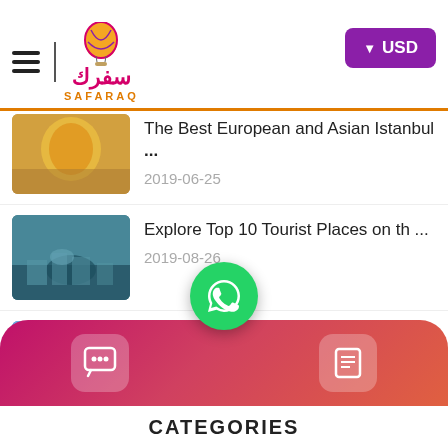[Figure (screenshot): Safaraq travel website mobile app screenshot showing logo with hot air balloon, USD currency button, list of travel articles with thumbnails, WhatsApp button, bottom navigation bar, and CATEGORIES label]
SAFARAQ — USD
The Best European and Asian Istanbul ...
2019-06-25
Explore Top 10 Tourist Places on th ...
2019-08-26
Explore the Legend of Fairy Chimney ...
2020-04-06
CATEGORIES